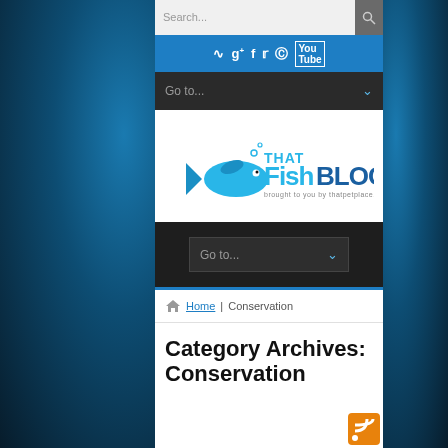[Figure (screenshot): Website screenshot of ThatFishBlog - a fish/aquarium blog brought to you by thatpetplace.com. Shows search bar at top, social media icons bar, navigation dropdown menus, the ThatFishBlog logo with a blue fish graphic, breadcrumb navigation showing Home > Conservation, and the Category Archives: Conservation heading.]
Search...
Go to...
That Fish BLOG brought to you by thatpetplace.com
Go to...
Home | Conservation
Category Archives: Conservation